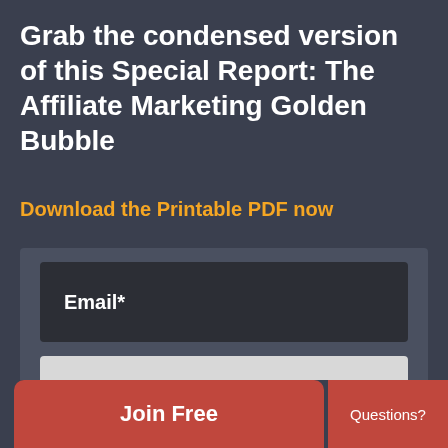Grab the condensed version of this Special Report: The Affiliate Marketing Golden Bubble
Download the Printable PDF now
[Figure (screenshot): Email signup form with a dark label box showing 'Email*' and a light gray input field with placeholder text 'Enter Your Email']
Join Free
Questions?